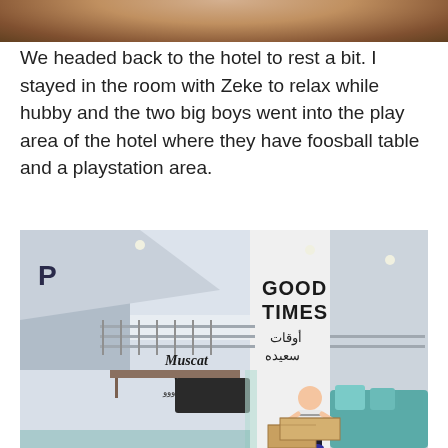[Figure (photo): Top portion of a photo, showing a blurred brown/wooden surface or food item against a light background]
We headed back to the hotel to rest a bit. I stayed in the room with Zeke to relax while hubby and the two big boys went into the play area of the hotel where they have foosball table and a playstation area.
[Figure (photo): Indoor play area of a hotel showing a child standing on cardboard boxes. On the wall are the words 'GOOD TIMES' in large black text and Arabic text below it, as well as 'Muscat Wow' and Arabic text. Teal sofas and cushions are visible on the right. A Playstation logo is on the left wall.]